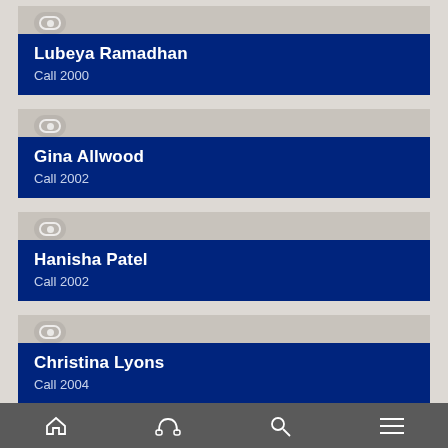Lubeya Ramadhan
Call 2000
Gina Allwood
Call 2002
Hanisha Patel
Call 2002
Christina Lyons
Call 2004
Home | Phone | Search | Menu